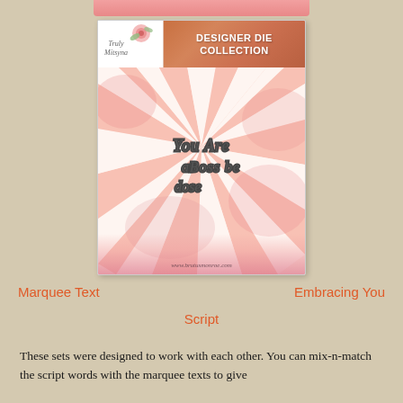[Figure (photo): Product card for Truly Mitsyana Designer Die Collection showing sunburst pink/white background with floral decorations, die-cut script text reading 'You Are as Boss Be', website www.brutusmonroe.com at bottom]
Marquee Text        Script        Embracing You
These sets were designed to work with each other. You can mix-n-match the script words with the marquee texts to give